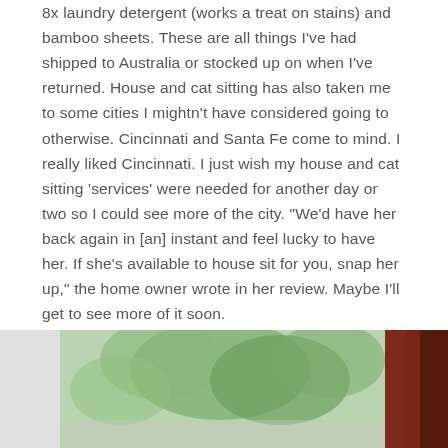8x laundry detergent (works a treat on stains) and bamboo sheets. These are all things I've had shipped to Australia or stocked up on when I've returned. House and cat sitting has also taken me to some cities I mightn't have considered going to otherwise. Cincinnati and Santa Fe come to mind. I really liked Cincinnati. I just wish my house and cat sitting 'services' were needed for another day or two so I could see more of the city. "We'd have her back again in [an] instant and feel lucky to have her. If she's available to house sit for you, snap her up," the home owner wrote in her review. Maybe I'll get to see more of it soon.
[Figure (photo): Two side-by-side photos at bottom of page. Left photo shows a window with green leafy trees visible outside and a light-colored wall/panel on the left side. Right photo shows dark reddish-brown wood paneling or furniture. A partial figure/silhouette is visible at the bottom center.]